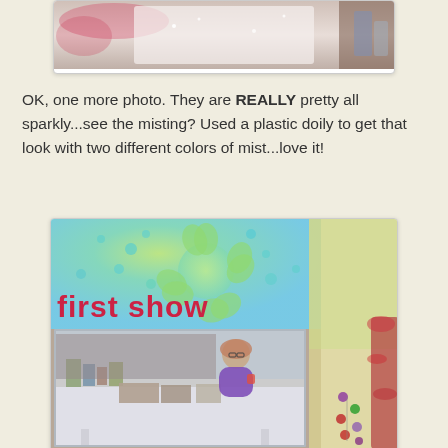[Figure (photo): Partial photo of a scrapbook page with floral/sparkly misting pattern, cropped at top of page]
OK, one more photo. They are REALLY pretty all sparkly...see the misting? Used a plastic doily to get that look with two different colors of mist...love it!
[Figure (photo): Scrapbook page titled 'first show' showing a crafts booth with a woman in purple standing behind a white-tablecloth table, surrounded by crafts. Background has green and teal doily-stenciled misting pattern and a right side with yellow/red splatter. Small colorful gem dots scattered lower right.]